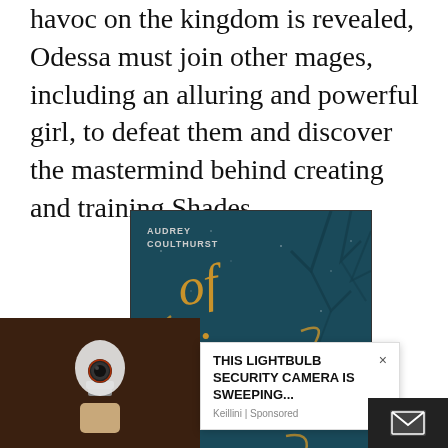havoc on the kingdom is revealed, Odessa must join other mages, including an alluring and powerful girl, to defeat them and discover the mastermind behind creating and training Shades.
[Figure (photo): Book cover of 'Of Fire and Stars' by Audrey Coulthurst. Dark teal background with bare tree branches, ornate golden calligraphy title text.]
[Figure (photo): Advertisement overlay showing a lightbulb security camera photo on the left and a white ad box on the right reading 'THIS LIGHTBULB SECURITY CAMERA IS SWEEPING...' with Keillini sponsored label and a close X button.]